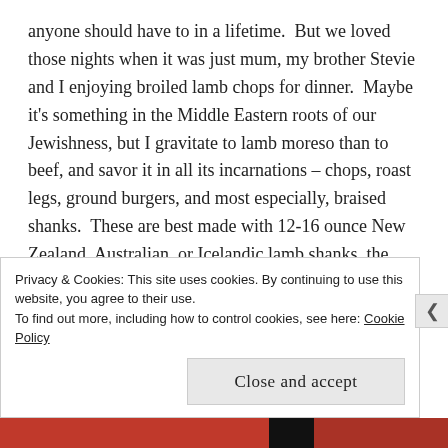anyone should have to in a lifetime.  But we loved those nights when it was just mum, my brother Stevie and I enjoying broiled lamb chops for dinner.  Maybe it's something in the Middle Eastern roots of our Jewishness, but I gravitate to lamb moreso than to beef, and savor it in all its incarnations – chops, roast legs, ground burgers, and most especially, braised shanks.  These are best made with 12-16 ounce New Zealand, Australian, or Icelandic lamb shanks, the latter available only seasonally in October from Whole Foods.  The American versions are (a) too large and (b) not lamby enough, tasting
Privacy & Cookies: This site uses cookies. By continuing to use this website, you agree to their use.
To find out more, including how to control cookies, see here: Cookie Policy
Close and accept